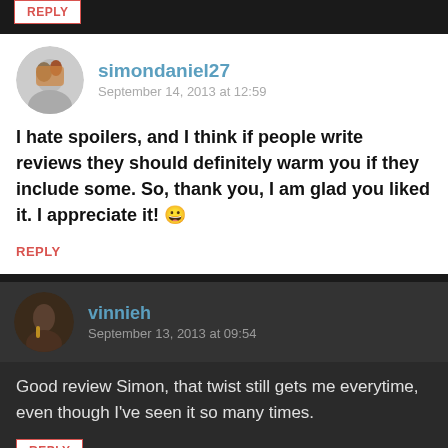REPLY
simondaniel27
September 14, 2013 at 12:59
I hate spoilers, and I think if people write reviews they should definitely warm you if they include some. So, thank you, I am glad you liked it. I appreciate it! 😀
REPLY
vinnieh
September 13, 2013 at 09:54
Good review Simon, that twist still gets me everytime, even though I've seen it so many times.
REPLY
simondaniel27